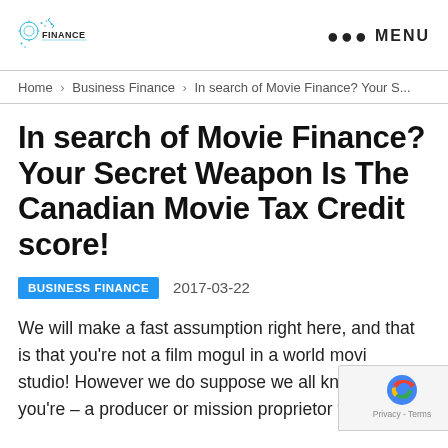FINANCE | ••• MENU
Home › Business Finance › In search of Movie Finance? Your S...
In search of Movie Finance? Your Secret Weapon Is The Canadian Movie Tax Credit score!
BUSINESS FINANCE  2017-03-22
We will make a fast assumption right here, and that is that you're not a film mogul in a world movie studio! However we do suppose we all know who you're – a producer or mission proprietor trying to